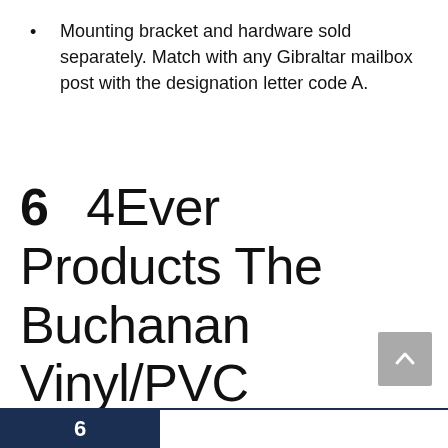Mounting bracket and hardware sold separately. Match with any Gibraltar mailbox post with the designation letter code A.
6  4Ever Products The Buchanan Vinyl/PVC Mailbox Post (Includes Mailbox) Complete Decorative Curbside Mailbox System with Classic Traditional Style (Black Mailbox)
6